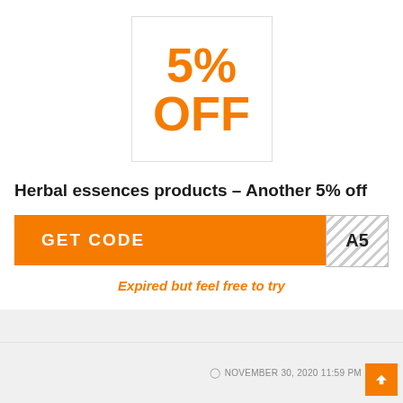[Figure (other): Orange discount badge showing '5% OFF' in large bold orange text inside a white box with border]
Herbal essences products – Another 5% off
GET CODE  A5
Expired but feel free to try
NOVEMBER 30, 2020 11:59 PM